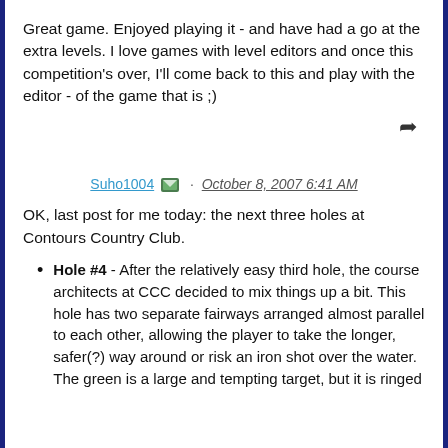Great game. Enjoyed playing it - and have had a go at the extra levels. I love games with level editors and once this competition's over, I'll come back to this and play with the editor - of the game that is ;)
Suho1004 · October 8, 2007 6:41 AM
OK, last post for me today: the next three holes at Contours Country Club.
Hole #4 - After the relatively easy third hole, the course architects at CCC decided to mix things up a bit. This hole has two separate fairways arranged almost parallel to each other, allowing the player to take the longer, safer(?) way around or risk an iron shot over the water. The green is a large and tempting target, but it is ringed